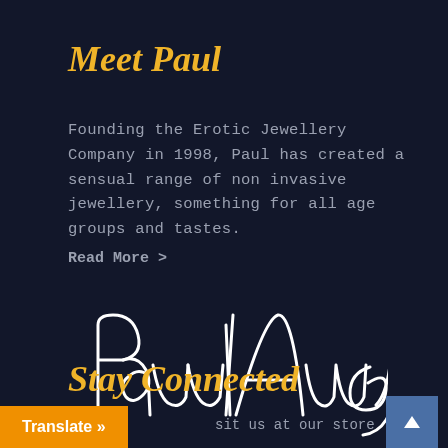Meet Paul
Founding the Erotic Jewellery Company in 1998, Paul has created a sensual range of non invasive jewellery, something for all age groups and tastes.
Read More >
[Figure (illustration): Handwritten cursive signature reading 'Paul Amey' in white on dark background]
Stay Connected
sit us at our store
Translate »